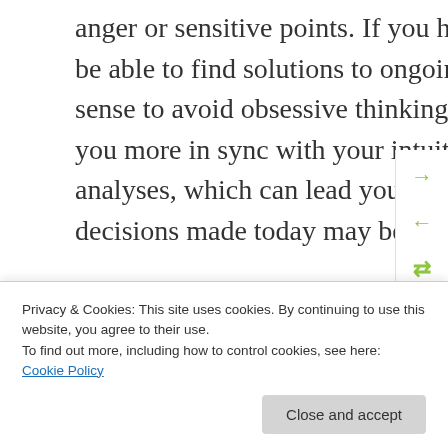anger or sensitive points. If you harness the energy well, you may be able to find solutions to ongoing problems. To do so, it makes sense to avoid obsessive thinking as much as possible, leaving you more in sync with your intuition. Try not to go too far with analyses, which can lead you astray. Emotionally-driven decisions made today may be regrettable later.
Gemini
ready to take action or make
Privacy & Cookies: This site uses cookies. By continuing to use this website, you agree to their use. To find out more, including how to control cookies, see here: Cookie Policy